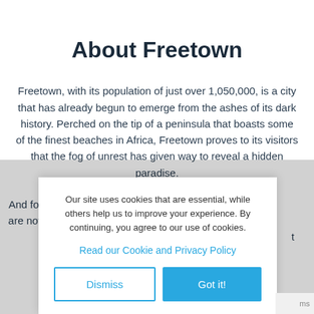About Freetown
Freetown, with its population of just over 1,050,000, is a city that has already begun to emerge from the ashes of its dark history. Perched on the tip of a peninsula that boasts some of the finest beaches in Africa, Freetown proves to its visitors that the fog of unrest has given way to reveal a hidden paradise.
And for a... are now a... t
Our site uses cookies that are essential, while others help us to improve your experience. By continuing, you agree to our use of cookies.
Read our Cookie and Privacy Policy
Dismiss
Got it!
ms